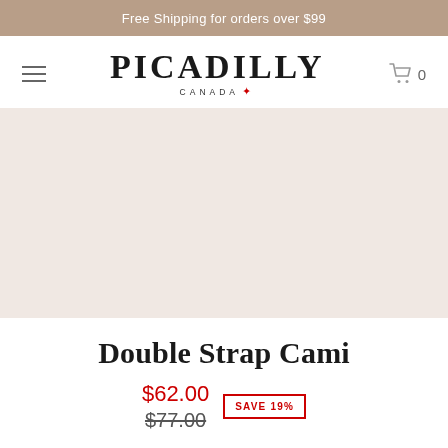Free Shipping for orders over $99
[Figure (logo): Picadilly Canada logo with hamburger menu and cart icon showing 0 items]
[Figure (photo): Product image area for Double Strap Cami (light beige/pink background, image not fully visible)]
Double Strap Cami
$62.00  $77.00  SAVE 19%